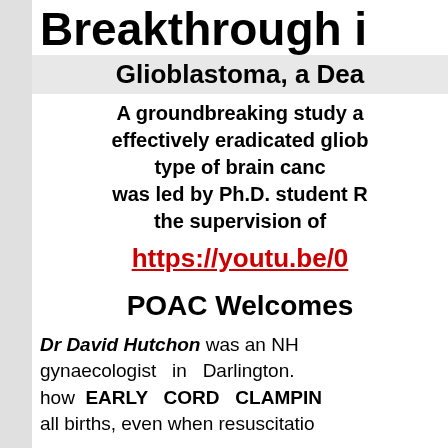Breakthrough i...
Glioblastoma, a Dea...
A groundbreaking study a... effectively eradicated gliob... type of brain canc... was led by Ph.D. student R... the supervision of...
https://youtu.be/0...
POAC Welcomes...
Dr David Hutchon was an NH... gynaecologist in Darlington. ... how EARLY CORD CLAMPIN... all births, even when resuscitatio...